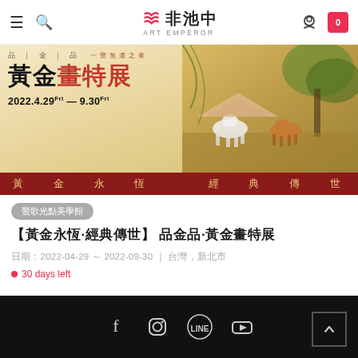非池中 ART EMPEROR
[Figure (illustration): 黃金畫特展 banner with Chinese painting of animals on right side, date 2022.4.29 Fri — 9.30 Fri on left side]
黃金永恆　經典傳世
鶯歌光點美學館
【黃金永恆·經典傳世】 品金品·黃金畫特展
日期：2022-04-29 ～ 2022-09-30 ｜ 台灣，新北市
● 30 days left
Facebook Instagram LINE YouTube